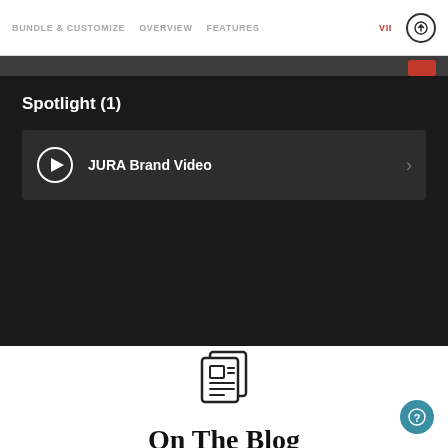BUNDLE & CUSTOMIZE   OVERVIEW   FEATURES   VII
Spotlight (1)
JURA Brand Video
On The Blog
[Figure (illustration): Newspaper/blog icon — a stylized document with text lines and a folded corner]